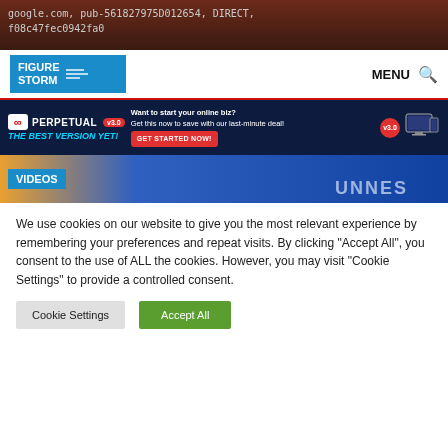google.com, pub-561827975D012654, DIRECT, f08c47fec0942fa0
[Figure (logo): Figure Storm website logo with navigation bar including MENU and search icon]
[Figure (screenshot): Perpetual Income advertisement banner: 'THE BEST VERSION YET! v3.0 - Want to start your online biz? Get this now to save with our last-minute deal! GET STARTED NOW!']
[Figure (photo): Videos section banner with blurred background showing game show contestants, VIDEOS label overlay]
We use cookies on our website to give you the most relevant experience by remembering your preferences and repeat visits. By clicking "Accept All", you consent to the use of ALL the cookies. However, you may visit "Cookie Settings" to provide a controlled consent.